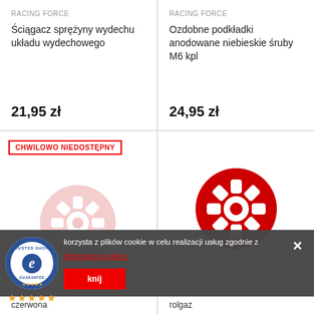RACING FORCE
Ściągacz sprężyny wydechu układu wydechowego
21,95 zł
RACING FORCE
Ozdobne podkładki anodowane niebieskie śruby M6 kpl
24,95 zł
CHWILOWO NIEDOSTĘPNY
[Figure (illustration): Pink/light red gear icon (unavailable product placeholder)]
[Figure (illustration): Red gear icon (product placeholder)]
korzysta z plików cookie w celu realizacji usług zgodnie z
dotyczącą cookies.
[Figure (logo): Trusted Shops guarantee logo with e-commerce badge]
★★★★★ 4,84
knij
czerwona
rolgaz